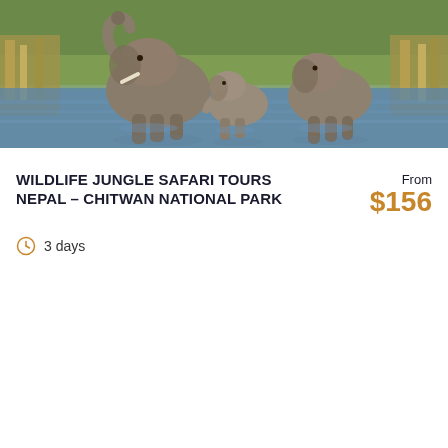[Figure (photo): Three elephants (one adult with raised trunk, one baby, one juvenile) wading through a river or watered area with lush grass and reeds in the background — wildlife photo from Chitwan National Park, Nepal]
WILDLIFE JUNGLE SAFARI TOURS NEPAL – CHITWAN NATIONAL PARK
From $156
3 days